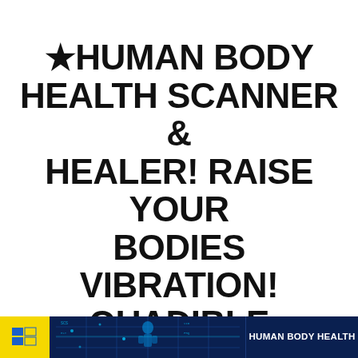★HUMAN BODY HEALTH SCANNER & HEALER! RAISE YOUR BODIES VIBRATION! QUADIBLE INTEGRITY★
[Figure (illustration): Bottom banner with yellow box containing a logo/icon, a dark blue center section with body scan imagery, and right section with 'HUMAN BODY HEALTH' text]